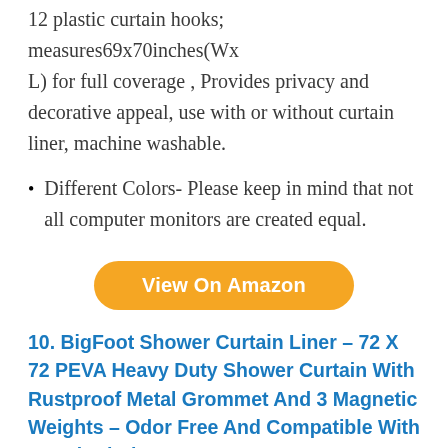12 plastic curtain hooks; measures69x70inches(Wx L) for full coverage , Provides privacy and decorative appeal, use with or without curtain liner, machine washable.
Different Colors- Please keep in mind that not all computer monitors are created equal.
View On Amazon
10. BigFoot Shower Curtain Liner – 72 X 72 PEVA Heavy Duty Shower Curtain With Rustproof Metal Grommet And 3 Magnetic Weights – Odor Free And Compatible With Standard Showers
[Figure (photo): Photo of a shower curtain liner hanging on a rod with metal hooks, white curtain visible at bottom.]